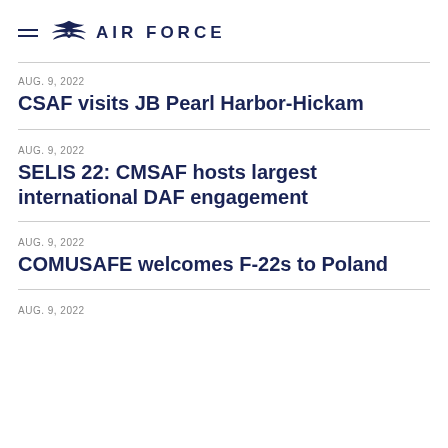AIR FORCE
AUG. 9, 2022
CSAF visits JB Pearl Harbor-Hickam
AUG. 9, 2022
SELIS 22: CMSAF hosts largest international DAF engagement
AUG. 9, 2022
COMUSAFE welcomes F-22s to Poland
AUG. 9, 2022